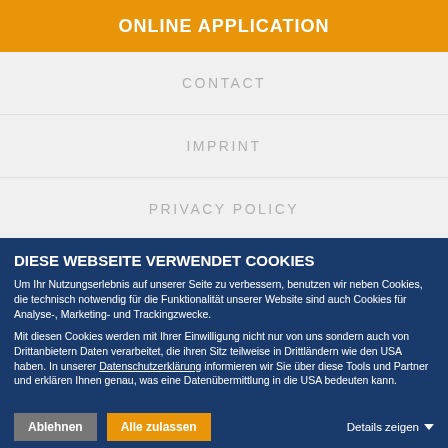ONLINE APPLICATION
CONTACT
IMPRINT
PRIVACY POLICY
DIESE WEBSEITE VERWENDET COOKIES
Um Ihr Nutzungserlebnis auf unserer Seite zu verbessern, benutzen wir neben Cookies, die technisch notwendig für die Funktionalität unserer Website sind auch Cookies für Analyse-, Marketing- und Trackingzwecke.
Mit diesen Cookies werden mit Ihrer Einwilligung nicht nur von uns sondern auch von Drittanbietern Daten verarbeitet, die ihren Sitz teilweise in Drittländern wie den USA haben. In unserer Datenschutzerklärung informieren wir Sie über diese Tools und Partner und erklären Ihnen genau, was eine Datenübermittlung in die USA bedeuten kann.
Ablehnen | Alle zulassen | Details zeigen